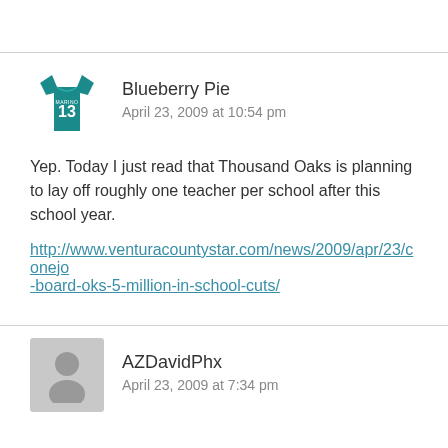Blueberry Pie
April 23, 2009 at 10:54 pm
Yep. Today I just read that Thousand Oaks is planning to lay off roughly one teacher per school after this school year.
http://www.venturacountystar.com/news/2009/apr/23/conejo-board-oks-5-million-in-school-cuts/
AZDavidPhx
April 23, 2009 at 7:34 pm